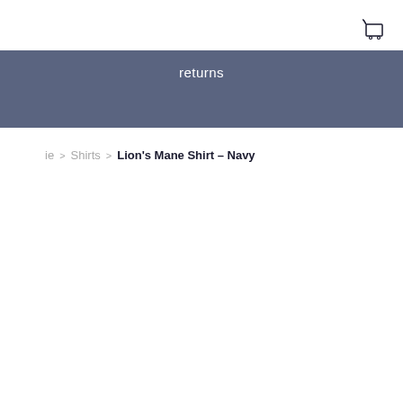[Figure (illustration): Shopping cart icon in top right corner]
returns
ie > Shirts > Lion's Mane Shirt – Navy